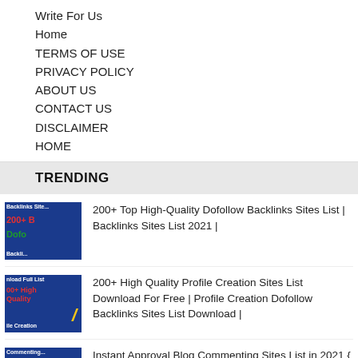Write For Us
Home
TERMS OF USE
PRIVACY POLICY
ABOUT US
CONTACT US
DISCLAIMER
HOME
TRENDING
[Figure (photo): Thumbnail image for backlinks article with text 200+ Dofollow]
200+ Top High-Quality Dofollow Backlinks Sites List | Backlinks Sites List 2021 |
[Figure (photo): Thumbnail image for profile creation sites article with yellow arrow graphic]
200+ High Quality Profile Creation Sites List Download For Free | Profile Creation Dofollow Backlinks Sites List Download |
[Figure (photo): Thumbnail image for blog commenting sites article]
Instant Approval Blog Commenting Sites List in 2021 { 430+ } | Teckum.com |